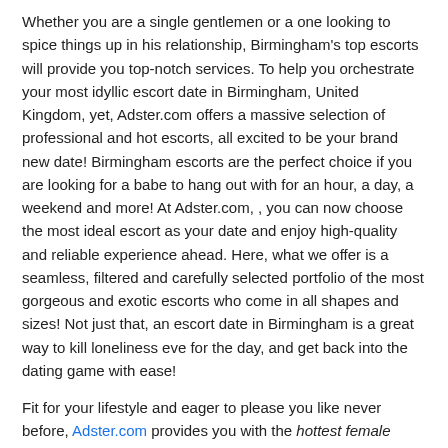Whether you are a single gentlemen or a one looking to spice things up in his relationship, Birmingham's top escorts will provide you top-notch services. To help you orchestrate your most idyllic escort date in Birmingham, United Kingdom, yet, Adster.com offers a massive selection of professional and hot escorts, all excited to be your brand new date! Birmingham escorts are the perfect choice if you are looking for a babe to hang out with for an hour, a day, a weekend and more! At Adster.com, , you can now choose the most ideal escort as your date and enjoy high-quality and reliable experience ahead. Here, what we offer is a seamless, filtered and carefully selected portfolio of the most gorgeous and exotic escorts who come in all shapes and sizes! Not just that, an escort date in Birmingham is a great way to kill loneliness eve for the day, and get back into the dating game with ease!
Fit for your lifestyle and eager to please you like never before, Adster.com provides you with the hottest female escorts in Birmingham to date!
Why is Adster.com the Best Escort Dating Platform Today?
It is no secret that men thrive on lust, chemistry, and provocation. Because of this, Adster.com offers a rich selection of professional and caring escorts who know how to turn your dull nights into fun-packed adventures! Stunning to look at, easygoing to be around with, and dynamic, Adster.com connects you with all female escorts in Birmingham who know how to keep you busy in the bedroom and elsewhere! Plus, at Adster.com you can be